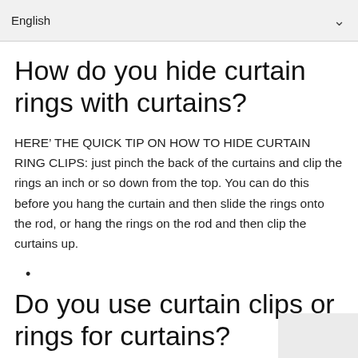English
How do you hide curtain rings with curtains?
HERE’ THE QUICK TIP ON HOW TO HIDE CURTAIN RING CLIPS: just pinch the back of the curtains and clip the rings an inch or so down from the top. You can do this before you hang the curtain and then slide the rings onto the rod, or hang the rings on the rod and then clip the curtains up.
•
Do you use curtain clips or rings for curtains?
?and I’ve used them in all my houses countless times over the years. Clips are great for customizing the length of a curtain